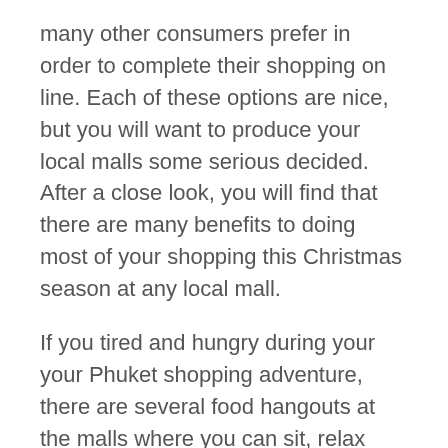many other consumers prefer in order to complete their shopping on line. Each of these options are nice, but you will want to produce your local malls some serious decided. After a close look, you will find that there are many benefits to doing most of your shopping this Christmas season at any local mall.
If you tired and hungry during your your Phuket shopping adventure, there are several food hangouts at the malls where you can sit, relax and refill your energy before return to why you're your online shopping. A wide variety of restaurants with diverse cuisines are open. The food joints include big brands like KFC, Pizza Hut, Oishi, and Fuji. Even Sizzler is very useful Phuket.
So a person receive optimal comfort and leisure in greatest Shopping mall for clothes shop. You can stay in